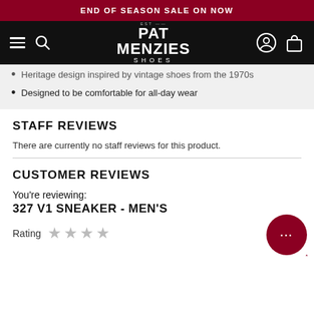END OF SEASON SALE ON NOW
[Figure (logo): Pat Menzies Shoes logo on black navigation bar with hamburger menu, search icon, account icon, and cart icon]
Heritage design inspired by vintage shoes from the 1970s
Designed to be comfortable for all-day wear
STAFF REVIEWS
There are currently no staff reviews for this product.
CUSTOMER REVIEWS
You're reviewing:
327 V1 SNEAKER - MEN'S
Rating